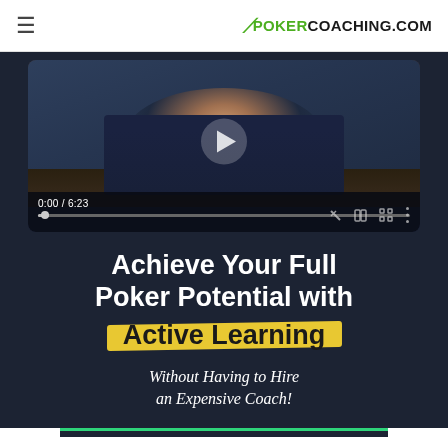PokerCoaching.com
[Figure (screenshot): Video player showing a man in a dark shirt sitting in front of a bookshelf, with a play button overlay, timecode 0:00 / 6:23 displayed, and a progress bar at the bottom.]
Achieve Your Full Poker Potential with Active Learning
Without Having to Hire an Expensive Coach!